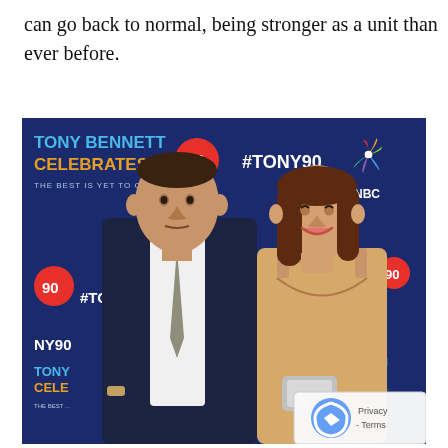can go back to normal, being stronger as a unit than ever before.
[Figure (photo): A man in a dark suit with a grey tie and a woman in a beige/gold sequined dress posing together at a Tony Bennett Celebrates 90 event backdrop, featuring #TONY90 and NBC logos.]